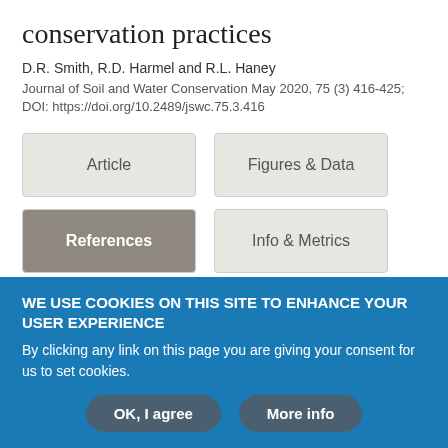conservation practices
D.R. Smith, R.D. Harmel and R.L. Haney
Journal of Soil and Water Conservation May 2020, 75 (3) 416-425; DOI: https://doi.org/10.2489/jswc.75.3.416
Article
Figures & Data
References
Info & Metrics
PDF
WE USE COOKIES ON THIS SITE TO ENHANCE YOUR USER EXPERIENCE
By clicking any link on this page you are giving your consent for us to set cookies.
OK, I agree
More info